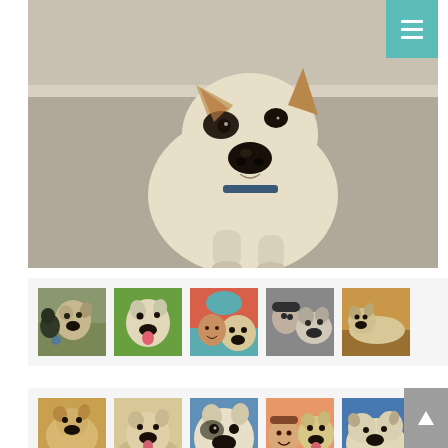[Figure (photo): Large main photo of a white/cream colored dog with black nose and markings, sitting and looking up at camera, on a gray surface]
[Figure (photo): Thumbnail row 1: 5 photos of a dog in various settings - outdoors playing, with tongue out on grass, held by person in blue hat, black-and-white photo with person, lying down]
[Figure (photo): Thumbnail row 2: 5 partial photos of dog - golden dog from above, dog on sandy surface, close-up face, with person smiling, dog with blue collar]